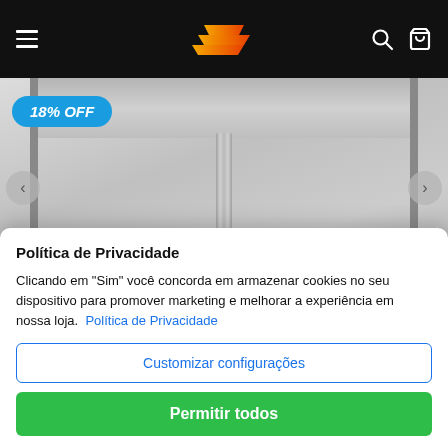Navigation header with logo and icons
[Figure (photo): Gray drawstring sweatpants/shorts with black side stripes and a blue 18% OFF badge in the top-left corner]
Política de Privacidade
Clicando em "Sim" você concorda em armazenar cookies no seu dispositivo para promover marketing e melhorar a experiência em nossa loja. Política de Privacidade
Customizar configurações
Permitir todos